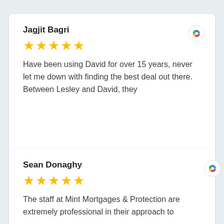Jagjit Bagri
★★★★★
Have been using David for over 15 years, never let me down with finding the best deal out there. Between Lesley and David, they
Sean Donaghy
★★★★★
The staff at Mint Mortgages & Protection are extremely professional in their approach to